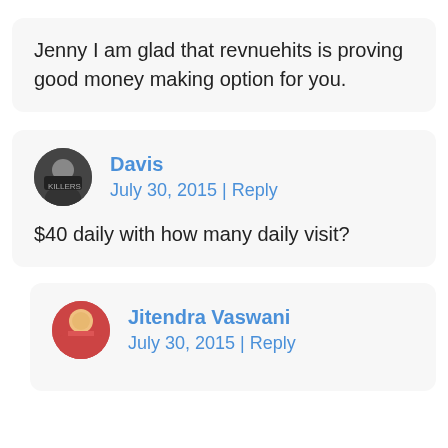Jenny I am glad that revnuehits is proving good money making option for you.
Davis
July 30, 2015 | Reply
$40 daily with how many daily visit?
Jitendra Vaswani
July 30, 2015 | Reply